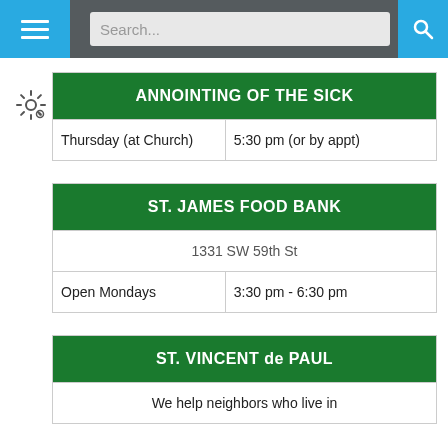Navigation bar with menu button and search field
| ANNOINTING OF THE SICK |
| --- |
| Thursday (at Church) | 5:30 pm (or by appt) |
| ST. JAMES FOOD BANK |
| --- |
| 1331 SW 59th St |
| Open Mondays | 3:30 pm - 6:30 pm |
| ST. VINCENT de PAUL |
| --- |
| We help neighbors who live in |